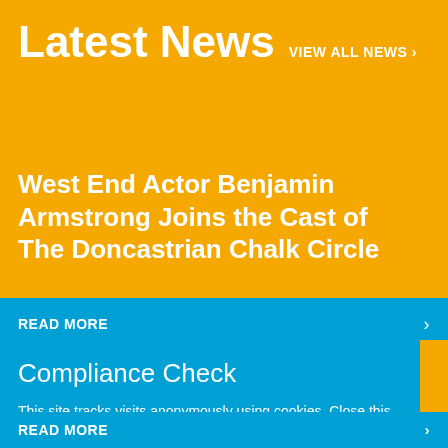Latest News VIEW ALL NEWS >
West End Actor Benjamin Armstrong Joins the Cast of The Doncastrian Chalk Circle
READ MORE >
Compliance Check
This site tracks visits anonymously using cookies. Close this dialog to confirm you are happy with that, or find out more in the best practice privacy statement
Agree and close
READ MORE >